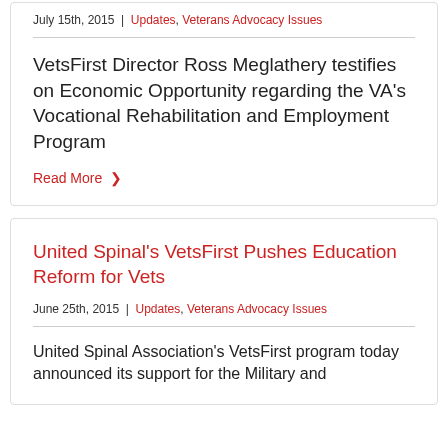July 15th, 2015  |  Updates, Veterans Advocacy Issues
VetsFirst Director Ross Meglathery testifies on Economic Opportunity regarding the VA's Vocational Rehabilitation and Employment Program
Read More ❯
United Spinal's VetsFirst Pushes Education Reform for Vets
June 25th, 2015  |  Updates, Veterans Advocacy Issues
United Spinal Association's VetsFirst program today announced its support for the Military and